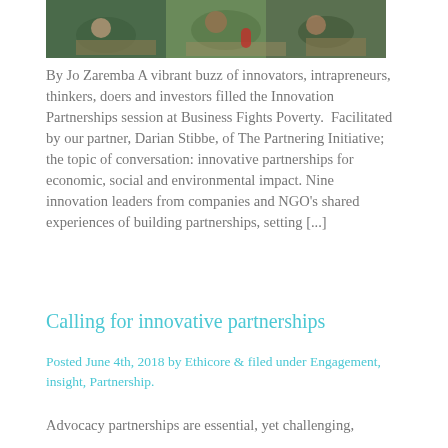[Figure (photo): Group of people sitting around a table at a session, photographed from above/side angle]
By Jo Zaremba A vibrant buzz of innovators, intrapreneurs, thinkers, doers and investors filled the Innovation Partnerships session at Business Fights Poverty.  Facilitated by our partner, Darian Stibbe, of The Partnering Initiative; the topic of conversation: innovative partnerships for economic, social and environmental impact. Nine innovation leaders from companies and NGO's shared experiences of building partnerships, setting [...]
Calling for innovative partnerships
Posted June 4th, 2018 by Ethicore & filed under Engagement, insight, Partnership.
Advocacy partnerships are essential, yet challenging,